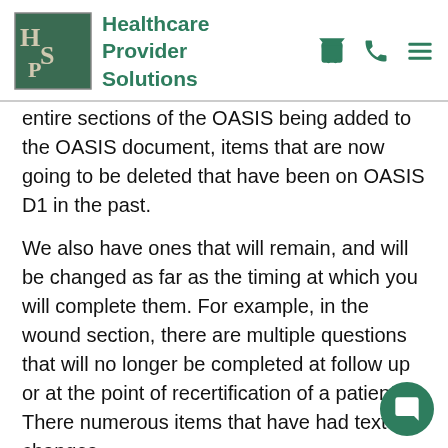Healthcare Provider Solutions
entire sections of the OASIS being added to the OASIS document, items that are now going to be deleted that have been on OASIS D1 in the past.
We also have ones that will remain, and will be changed as far as the timing at which you will complete them. For example, in the wound section, there are multiple questions that will no longer be completed at follow up or at the point of recertification of a patient. There numerous items that have had text changes